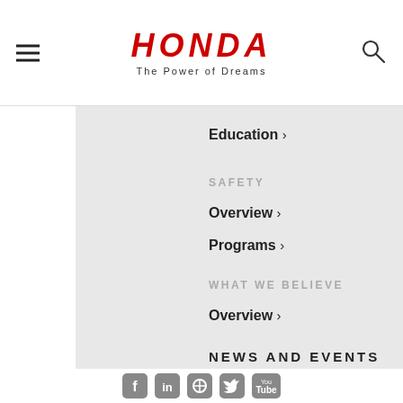[Figure (logo): Honda logo with 'HONDA' in red italic bold lettering and 'The Power of Dreams' tagline below]
Education ›
SAFETY
Overview ›
Programs ›
WHAT WE BELIEVE
Overview ›
NEWS AND EVENTS
[Figure (infographic): Social media icons row: Facebook, LinkedIn, Pinterest, Twitter, YouTube]